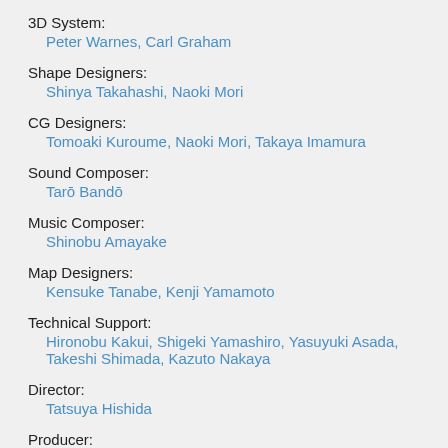3D System:
Peter Warnes, Carl Graham
Shape Designers:
Shinya Takahashi, Naoki Mori
CG Designers:
Tomoaki Kuroume, Naoki Mori, Takaya Imamura
Sound Composer:
Tarō Bandō
Music Composer:
Shinobu Amayake
Map Designers:
Kensuke Tanabe, Kenji Yamamoto
Technical Support:
Hironobu Kakui, Shigeki Yamashiro, Yasuyuki Asada, Takeshi Shimada, Kazuto Nakaya
Director:
Tatsuya Hishida
Producer: